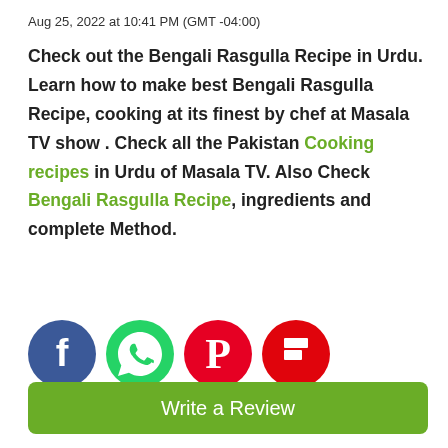Aug 25, 2022 at 10:41 PM (GMT -04:00)
Check out the Bengali Rasgulla Recipe in Urdu. Learn how to make best Bengali Rasgulla Recipe, cooking at its finest by chef at Masala TV show . Check all the Pakistan Cooking recipes in Urdu of Masala TV. Also Check Bengali Rasgulla Recipe, ingredients and complete Method.
[Figure (infographic): Four social media share buttons: Facebook (blue circle with white F), WhatsApp (green circle with white handset/speech icon), Pinterest (red circle with white P), Flipboard (red circle with white F)]
Write a Review